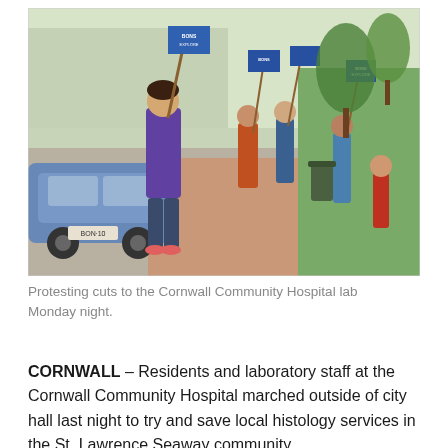[Figure (photo): Protesters marching on a sidewalk outside city hall, holding picket signs. A woman in a purple top stands prominently in the foreground near a blue car. Several other protesters with signs are visible along the sidewalk.]
Protesting cuts to the Cornwall Community Hospital lab Monday night.
CORNWALL – Residents and laboratory staff at the Cornwall Community Hospital marched outside of city hall last night to try and save local histology services in the St. Lawrence Seaway community.
The Eastern Ontario Regional Laboratory Association is cutting four laboratory jobs in Cornwall and sending tissue